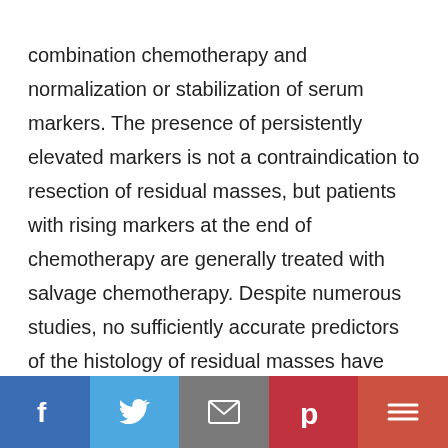combination chemotherapy and normalization or stabilization of serum markers. The presence of persistently elevated markers is not a contraindication to resection of residual masses, but patients with rising markers at the end of chemotherapy are generally treated with salvage chemotherapy. Despite numerous studies, no sufficiently accurate predictors of the histology of residual masses have been validated. Therefore, the standard of care is to resect all residual masses apparent on scans in patients who have normal or
Social share bar: Facebook, Twitter, Email, Pinterest, More